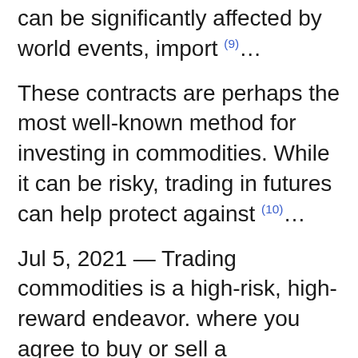can be significantly affected by world events, import (9)...
These contracts are perhaps the most well-known method for investing in commodities. While it can be risky, trading in futures can help protect against (10)...
Jul 5, 2021 — Trading commodities is a high-risk, high-reward endeavor. where you agree to buy or sell a commodity for a certain price at a specified (11)...
This type of investment can carry higher